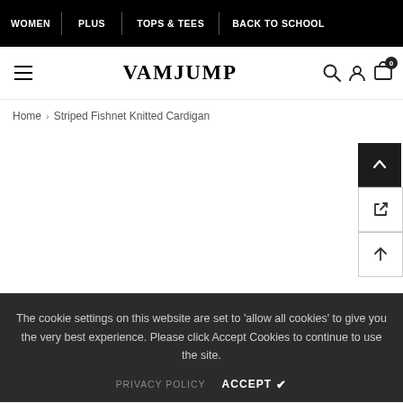WOMEN | PLUS | TOPS & TEES | BACK TO SCHOOL
VAMJUMP
Home > Striped Fishnet Knitted Cardigan
The cookie settings on this website are set to ‘allow all cookies’ to give you the very best experience. Please click Accept Cookies to continue to use the site.
PRIVACY POLICY    ACCEPT ✔